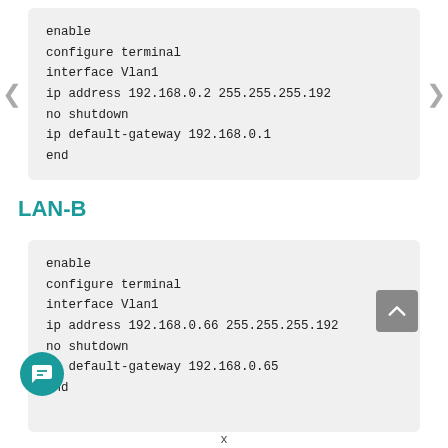enable
configure terminal
interface Vlan1
ip address 192.168.0.2 255.255.255.192
no shutdown
ip default-gateway 192.168.0.1
end
LAN-B
enable
configure terminal
interface Vlan1
ip address 192.168.0.66 255.255.255.192
no shutdown
ip default-gateway 192.168.0.65
end